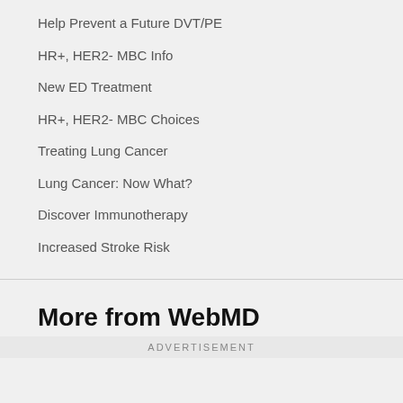Help Prevent a Future DVT/PE
HR+, HER2- MBC Info
New ED Treatment
HR+, HER2- MBC Choices
Treating Lung Cancer
Lung Cancer: Now What?
Discover Immunotherapy
Increased Stroke Risk
More from WebMD
Understanding Allergic Asthma
Here's What Head Lice Looks Like
ADVERTISEMENT